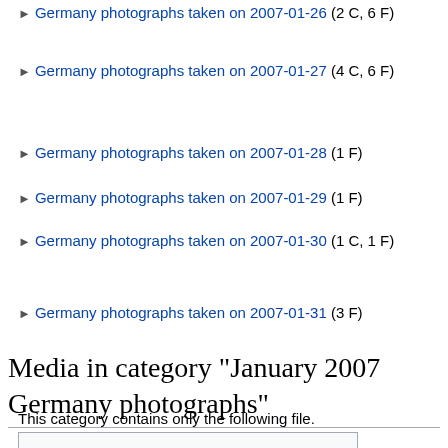Germany photographs taken on 2007-01-26 (2 C, 6 F)
Germany photographs taken on 2007-01-27 (4 C, 6 F)
Germany photographs taken on 2007-01-28 (1 F)
Germany photographs taken on 2007-01-29 (1 F)
Germany photographs taken on 2007-01-30 (1 C, 1 F)
Germany photographs taken on 2007-01-31 (3 F)
Media in category "January 2007 Germany photographs"
This category contains only the following file.
[Figure (other): Empty file thumbnail box]